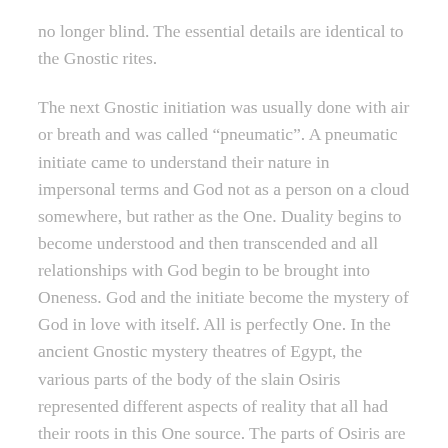no longer blind. The essential details are identical to the Gnostic rites.
The next Gnostic initiation was usually done with air or breath and was called “pneumatic”. A pneumatic initiate came to understand their nature in impersonal terms and God not as a person on a cloud somewhere, but rather as the One. Duality begins to become understood and then transcended and all relationships with God begin to be brought into Oneness. God and the initiate become the mystery of God in love with itself. All is perfectly One. In the ancient Gnostic mystery theatres of Egypt, the various parts of the body of the slain Osiris represented different aspects of reality that all had their roots in this One source. The parts of Osiris are recollected and put back together